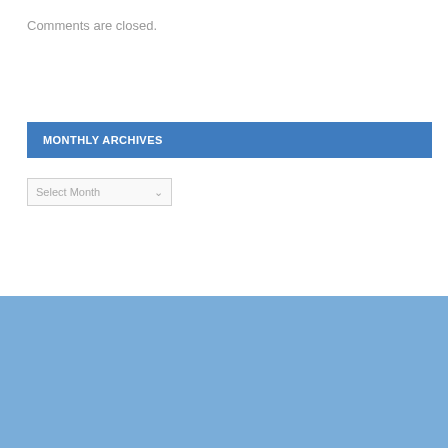Comments are closed.
MONTHLY ARCHIVES
Select Month